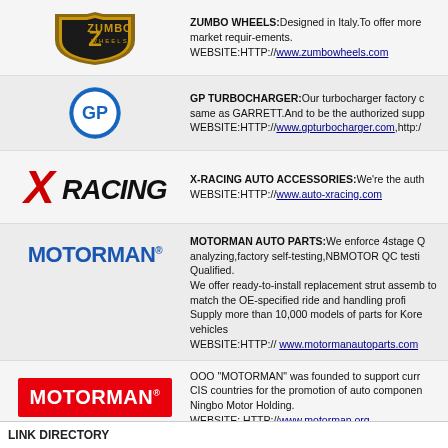[Figure (logo): Zumbo Wheels logo - shield with Z, text ZUMBO WHEELS in gold]
ZUMBO WHEELS:Designed in Italy.To offer more market requir-ements. WEBSITE:HTTP://www.zumbowheels.com
[Figure (logo): GP Turbocharger logo - blue circle with GP letters]
GP TURBOCHARGER:Our turbocharger factory c same as GARRETT.And to be the authorized supp WEBSITE:HTTP://www.gpturbocharger.com,http:/
[Figure (logo): X-Racing logo - black X with red racing text]
X-RACING AUTO ACCESSORIES:We're the auth WEBSITE:HTTP://www.auto-xracing.com
[Figure (logo): Motorman logo in blue text]
MOTORMAN AUTO PARTS:We enforce 4stage Q analyzing,factory self-testing,NBMOTOR QC testi Qualified. We offer ready-to-install replacement strut assemb to match the OE-specified ride and handling profi Supply more than 10,000 models of parts for Kore vehicles WEBSITE:HTTP:// www.motormanautoparts.com
[Figure (logo): Motorman logo on red background]
OOO "MOTORMAN" was founded to support curr CIS countries for the promotion of auto componen Ningbo Motor Holding. WEBSITE: HTTP://www.motorman.org
LINK DIRECTORY